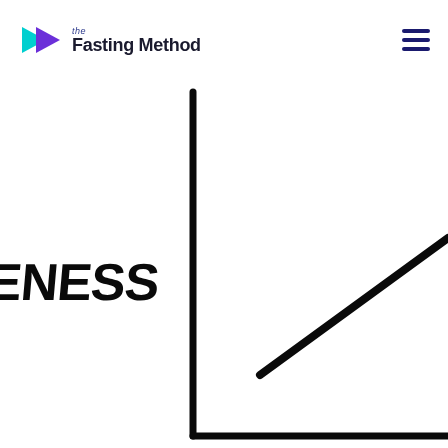[Figure (logo): The Fasting Method logo with cyan and purple play-button triangles and text 'the Fasting Method']
[Figure (illustration): Hand-drawn L-shaped axes (vertical y-axis and horizontal x-axis) with a diagonal line rising from lower-center to upper-right, partially visible word 'ENESS' on the left side representing a y-axis label]